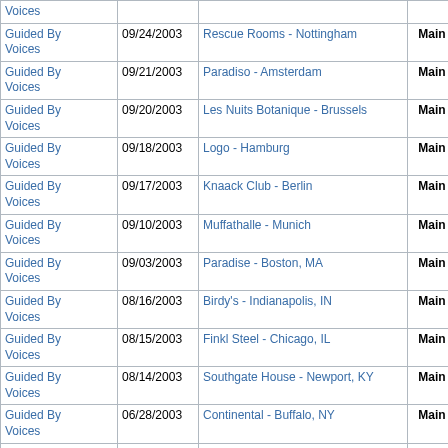| Artist | Date | Venue | Type |  |  |
| --- | --- | --- | --- | --- | --- |
| Guided By Voices |  |  |  |  |  |
| Guided By Voices | 09/24/2003 | Rescue Rooms - Nottingham | Main |  |  |
| Guided By Voices | 09/21/2003 | Paradiso - Amsterdam | Main |  |  |
| Guided By Voices | 09/20/2003 | Les Nuits Botanique - Brussels | Main |  |  |
| Guided By Voices | 09/18/2003 | Logo - Hamburg | Main |  |  |
| Guided By Voices | 09/17/2003 | Knaack Club - Berlin | Main |  |  |
| Guided By Voices | 09/10/2003 | Muffathalle - Munich | Main |  |  |
| Guided By Voices | 09/03/2003 | Paradise - Boston, MA | Main |  |  |
| Guided By Voices | 08/16/2003 | Birdy's - Indianapolis, IN | Main |  |  |
| Guided By Voices | 08/15/2003 | Finkl Steel - Chicago, IL | Main |  |  |
| Guided By Voices | 08/14/2003 | Southgate House - Newport, KY | Main |  |  |
| Guided By Voices | 06/28/2003 | Continental - Buffalo, NY | Main |  |  |
| Guided By Voices | 06/27/2003 | Lime Spider - Akron, OH | Main |  |  |
| Guided By Voices | 06/26/2003 | Intersection - Grand Rapids, MI | Main |  |  |
| Guided By Voices | 06/26/2003 | Nate Farley Session | Main |  |  |
| Guided By Voices | 04/25/2003 | Mississippi Nights - St. Louis, MO | Main |  |  |
| Guided By | 04/12/2003 | Vic Theatre - Chicago, IL | Main |  |  |